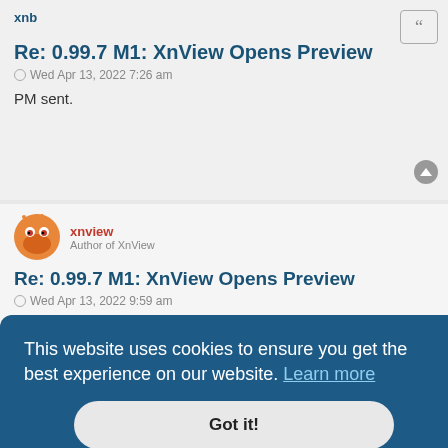xnb
Re: 0.99.7 M1: XnView Opens Preview
Wed Apr 13, 2022 7:26 am
PM sent.
xnview
Author of XnView
Re: 0.99.7 M1: XnView Opens Preview
Wed Apr 13, 2022 9:59 am
xnb wrote:
…
here…
where?
Plone…
This website uses cookies to ensure you get the best experience on our website. Learn more
Got it!
JayXon